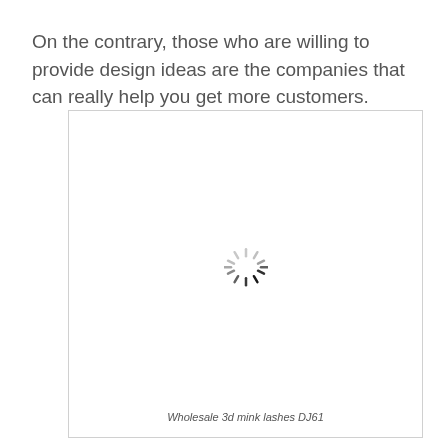On the contrary, those who are willing to provide design ideas are the companies that can really help you get more customers.
[Figure (photo): Loading spinner icon centered in a white bordered image placeholder box]
Wholesale 3d mink lashes DJ61